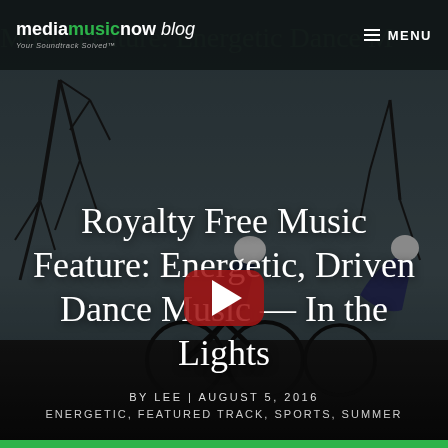mediamusicnow blog — Your Soundtrack Solved™ | MENU
[Figure (screenshot): Blog page screenshot with dark background showing cyclists silhouette, large red YouTube-style play button, and overlaid article title text]
Royalty Free Music Feature: Energetic, Driven Dance Music — In the Lights
BY LEE | AUGUST 5, 2016
ENERGETIC, FEATURED TRACK, SPORTS, SUMMER